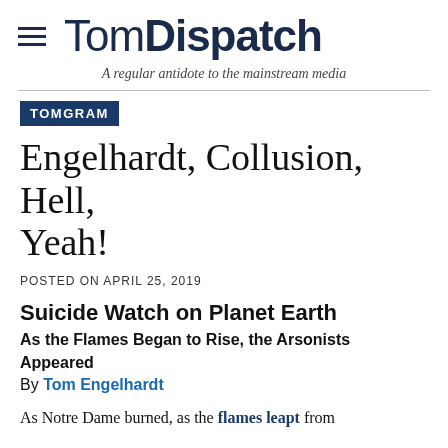TomDispatch — A regular antidote to the mainstream media
TOMGRAM
Engelhardt, Collusion, Hell, Yeah!
POSTED ON APRIL 25, 2019
Suicide Watch on Planet Earth
As the Flames Began to Rise, the Arsonists Appeared
By Tom Engelhardt
As Notre Dame burned, as the flames leapt from its roof, far about the cameras of a rapt and...